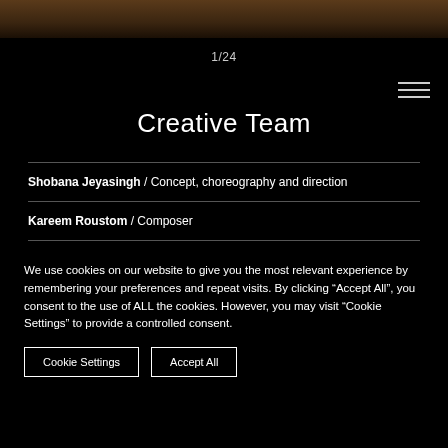[Figure (photo): A dark brown/warm-toned photo strip at the top of the page, appearing to show a wooden surface or stage floor.]
1/24
Creative Team
Shobana Jeyasingh / Concept, choreography and direction
Kareem Roustom / Composer
We use cookies on our website to give you the most relevant experience by remembering your preferences and repeat visits. By clicking “Accept All”, you consent to the use of ALL the cookies. However, you may visit “Cookie Settings” to provide a controlled consent.
Cookie Settings   Accept All